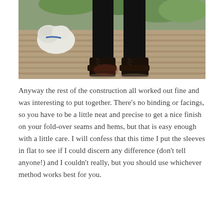[Figure (photo): Outdoor photo showing a person's legs from the knees down wearing black trousers and black lace-up boots, standing on a weathered wooden deck. A white fluffy dog is visible on the left side near green foliage in the background.]
Anyway the rest of the construction all worked out fine and was interesting to put together. There's no binding or facings, so you have to be a little neat and precise to get a nice finish on your fold-over seams and hems, but that is easy enough with a little care. I will confess that this time I put the sleeves in flat to see if I could discern any difference (don't tell anyone!) and I couldn't really, but you should use whichever method works best for you.